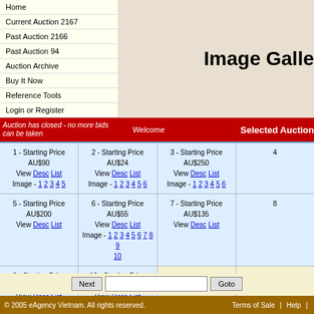Home
Current Auction 2167
Past Auction 2166
Past Auction 94
Auction Archive
Buy It Now
Reference Tools
Login or Register
Image Gallery
Auction has closed - no more bids can be taken   Welcome   Selected Auction
| Lot 1 | Lot 2 | Lot 3 | Lot 4+ |
| --- | --- | --- | --- |
| 1 - Starting Price AU$90
View Desc List
Image - 1 2 3 4 5 | 2 - Starting Price AU$24
View Desc List
Image - 1 2 3 4 5 6 | 3 - Starting Price AU$250
View Desc List
Image - 1 2 3 4 5 6 | 4... |
| 5 - Starting Price AU$200
View Desc List | 6 - Starting Price AU$55
View Desc List
Image - 1 2 3 4 5 6 7 8 9 10 | 7 - Starting Price AU$135
View Desc List | 8... |
| 9 - Starting Price AU$80
View Desc List
Image - 1 2 3 4 5 | 10 - Starting Price AU$40
View Desc List
Image - 1 2 3 4 5 |  |  |
Next  [input]  Goto
© 2005 eAgency Vietnam. All rights reserved.   Terms of Sale  |  Help  |